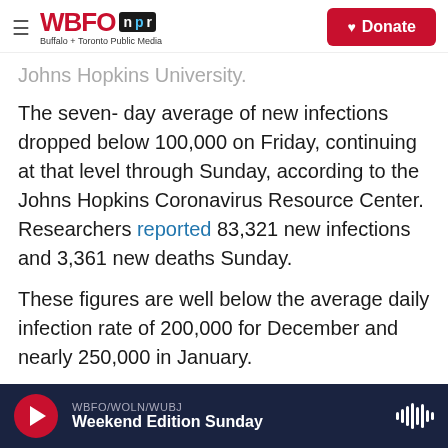WBFO npr — Buffalo + Toronto Public Media — Donate
Johns Hopkins University.
The seven- day average of new infections dropped below 100,000 on Friday, continuing at that level through Sunday, according to the Johns Hopkins Coronavirus Resource Center. Researchers reported 83,321 new infections and 3,361 new deaths Sunday.
These figures are well below the average daily infection rate of 200,000 for December and nearly 250,000 in January.
WBFO/WOLN/WUBJ — Weekend Edition Sunday